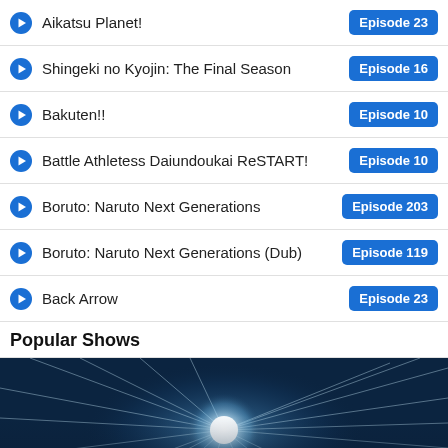Aikatsu Planet! — Episode 23
Shingeki no Kyojin: The Final Season — Episode 16
Bakuten!! — Episode 10
Battle Athletess Daiundoukai ReSTART! — Episode 10
Boruto: Naruto Next Generations — Episode 203
Boruto: Naruto Next Generations (Dub) — Episode 119
Back Arrow — Episode 23
Popular Shows
[Figure (screenshot): Anime banner image with a bright starburst/explosion effect on a dark blue background. Below the image is a thumbnail and title card for 'Death Note' with subtitle text partially visible.]